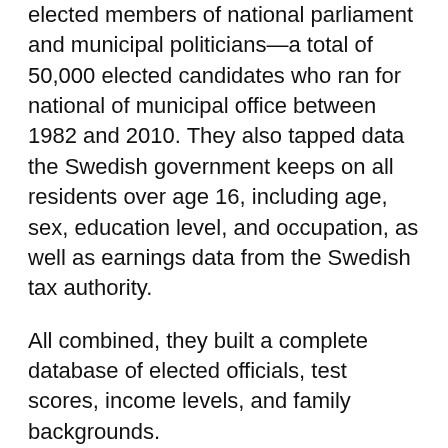elected members of national parliament and municipal politicians—a total of 50,000 elected candidates who ran for national of municipal office between 1982 and 2010. They also tapped data the Swedish government keeps on all residents over age 16, including age, sex, education level, and occupation, as well as earnings data from the Swedish tax authority.
All combined, they built a complete database of elected officials, test scores, income levels, and family backgrounds.
“Given this information we can precisely characterize how the personal traits of politicians relate to those in the entire population,” the authors wrote.
The researchers reached several conclusions. First, they found that not only do Swedish politicians have higher average IQs and stronger leadership qualities than those they serve, but they are also representative of the